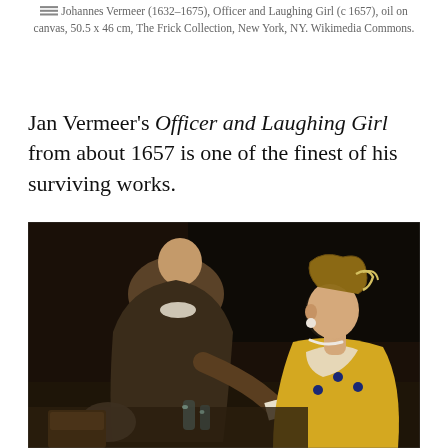Johannes Vermeer (1632–1675), Officer and Laughing Girl (c 1657), oil on canvas, 50.5 x 46 cm, The Frick Collection, New York, NY. Wikimedia Commons.
Jan Vermeer's Officer and Laughing Girl from about 1657 is one of the finest of his surviving works.
[Figure (photo): Painting by Vermeer showing two figures in an interior: on the left, a figure seen from behind in dark clothing, and on the right, a young woman with curly hair in a yellow dress sitting at a table, smiling.]